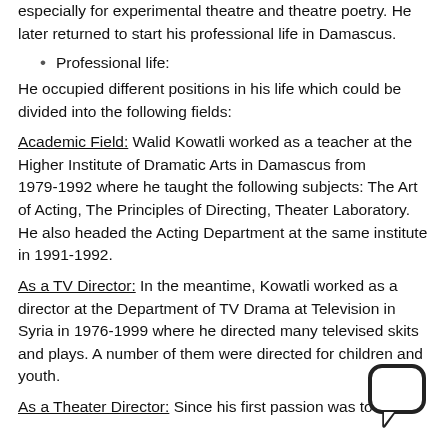especially for experimental theatre and theatre poetry. He later returned to start his professional life in Damascus.
Professional life:
He occupied different positions in his life which could be divided into the following fields:
Academic Field: Walid Kowatli worked as a teacher at the Higher Institute of Dramatic Arts in Damascus from 1979-1992 where he taught the following subjects: The Art of Acting, The Principles of Directing, Theater Laboratory. He also headed the Acting Department at the same institute in 1991-1992.
As a TV Director: In the meantime, Kowatli worked as a director at the Department of TV Drama at Television in Syria in 1976-1999 where he directed many televised skits and plays. A number of them were directed for children and youth.
As a Theater Director: Since his first passion was to the